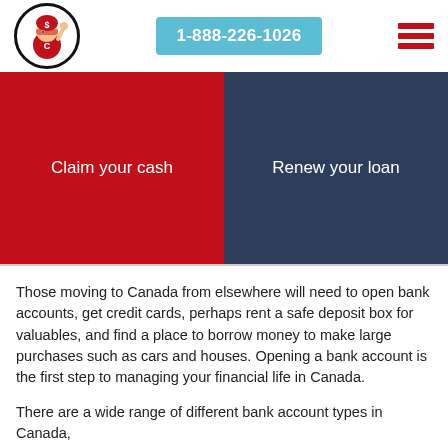[Figure (logo): Red superhero mascot character with dollar sign helmet inside a circle logo]
1-888-226-1026
[Figure (infographic): Hamburger menu icon with three red horizontal bars]
Claim your cash
Renew your loan
Those moving to Canada from elsewhere will need to open bank accounts, get credit cards, perhaps rent a safe deposit box for valuables, and find a place to borrow money to make large purchases such as cars and houses. Opening a bank account is the first step to managing your financial life in Canada.
There are a wide range of different bank account types in Canada,